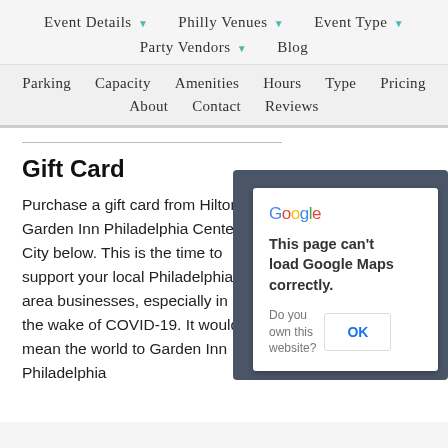Event Details ▾   Philly Venues ▾   Event Type ▾   Party Vendors ▾   Blog
Parking   Capacity   Amenities   Hours   Type   Pricing   About   Contact   Reviews
Gift Card
Purchase a gift card from Hilton Garden Inn Philadelphia Center City below. This is the time to support your local Philadelphia area businesses, especially in the wake of COVID-19. It would mean the world to Garden Inn Philadelphia
[Figure (screenshot): Google Maps error dialog on a dark map background. Shows Google logo, bold text 'This page can't load Google Maps correctly.' and a row with 'Do you own this website?' text and an OK button.]